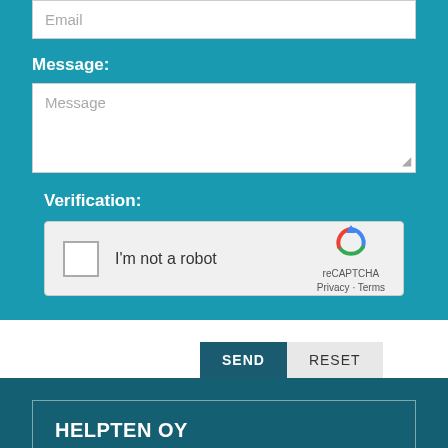Email
Message:
Message
Verification:
[Figure (other): reCAPTCHA widget with checkbox labeled 'I'm not a robot' and reCAPTCHA logo with Privacy and Terms links]
SEND
RESET
HELPTEN OY
Sinikalliontie 12, 02630 Espoo